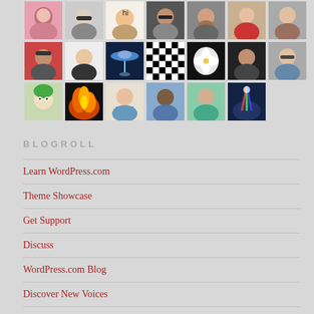[Figure (photo): Grid of user avatar photos arranged in 3 rows: row 1 has 7 avatars (people/profiles), row 2 has 7 avatars (people, abstract, nature), row 3 has 6 avatars (cartoon, fire, people, nature)]
BLOGROLL
Learn WordPress.com
Theme Showcase
Get Support
Discuss
WordPress.com Blog
Discover New Voices